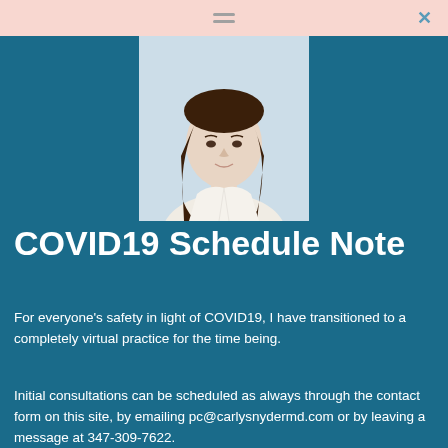≡  ×
[Figure (photo): Professional headshot of a woman with long brown hair wearing a white blouse, against a light blue-grey background]
COVID19 Schedule Note
For everyone's safety in light of COVID19, I have transitioned to a completely virtual practice for the time being.
Initial consultations can be scheduled as always through the contact form on this site, by emailing pc@carlysnydermd.com or by leaving a message at 347-309-7622.